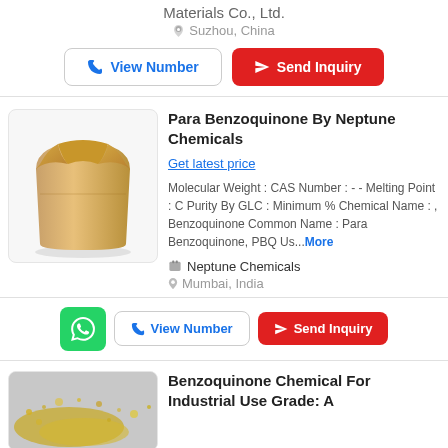Materials Co., Ltd.
Suzhou, China
View Number
Send Inquiry
Para Benzoquinone By Neptune Chemicals
Get latest price
Molecular Weight : CAS Number : - - Melting Point : C Purity By GLC : Minimum % Chemical Name : , Benzoquinone Common Name : Para Benzoquinone, PBQ Us...More
Neptune Chemicals
Mumbai, India
View Number
Send Inquiry
[Figure (photo): Brown paper bag product image for Para Benzoquinone]
Benzoquinone Chemical For Industrial Use Grade: A
[Figure (photo): Yellow powder product image for Benzoquinone Chemical]